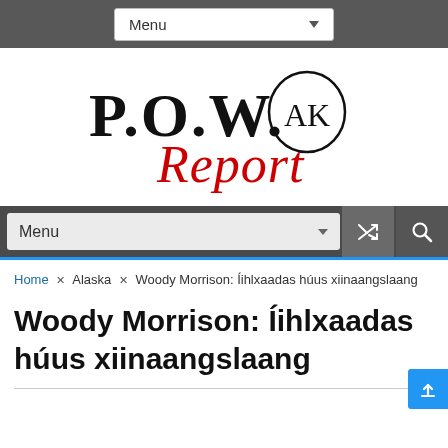Menu
[Figure (logo): P.O.W. AK Report logo — serif black text 'P.O.W.' with circled 'AK', and red script 'Report' below]
Menu (secondary navigation bar with shuffle and search icons)
Home » Alaska » Woody Morrison: Íihlxaadas húus xiinaangslaang
Woody Morrison: Íihlxaadas húus xiinaangslaang